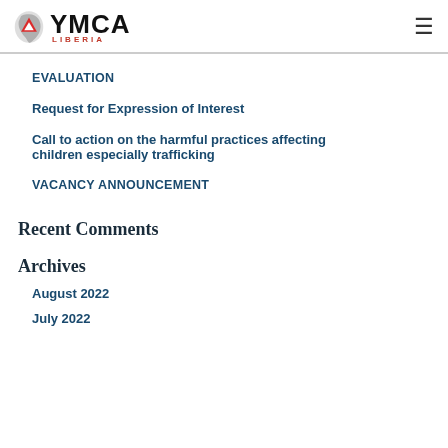YMCA LIBERIA
EVALUATION
Request for Expression of Interest
Call to action on the harmful practices affecting children especially trafficking
VACANCY ANNOUNCEMENT
Recent Comments
Archives
August 2022
July 2022